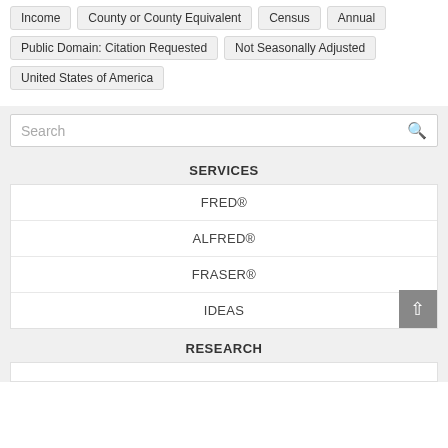Income
County or County Equivalent
Census
Annual
Public Domain: Citation Requested
Not Seasonally Adjusted
United States of America
Search
SERVICES
FRED®
ALFRED®
FRASER®
IDEAS
RESEARCH